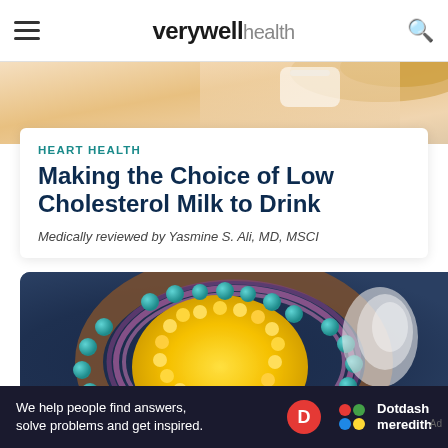verywell health
[Figure (photo): Partial photo of person drinking from a glass, cropped at top of page]
HEART HEALTH
Making the Choice of Low Cholesterol Milk to Drink
Medically reviewed by Yasmine S. Ali, MD, MSCI
[Figure (illustration): 3D scientific illustration of a cholesterol/lipoprotein molecule cross-section showing yellow lipid core surrounded by phospholipid bilayer with teal/blue spherical molecules and brown protein structures on dark blue background]
We help people find answers, solve problems and get inspired.
Dotdash meredith